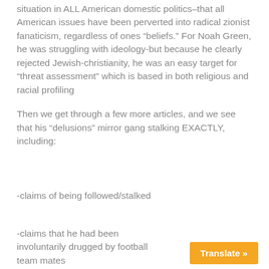situation in ALL American domestic politics–that all American issues have been perverted into radical zionist fanaticism, regardless of ones "beliefs." For Noah Green, he was struggling with ideology-but because he clearly rejected Jewish-christianity, he was an easy target for “threat assessment” which is based in both religious and racial profiling
Then we get through a few more articles, and we see that his “delusions” mirror gang stalking EXACTLY, including:
-claims of being followed/stalked
-claims that he had been involuntarily drugged by football team mates
Translate »